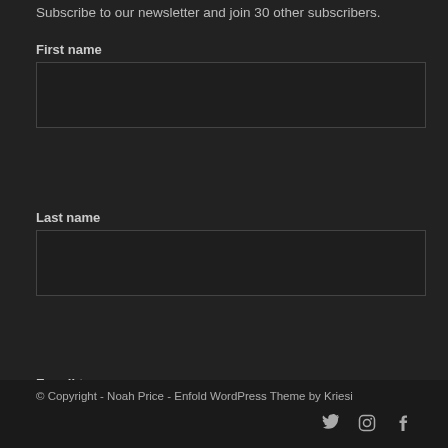Subscribe to our newsletter and join 30 other subscribers.
First name
Last name
E-mail *
Subscribe!
© Copyright - Noah Price - Enfold WordPress Theme by Kriesi